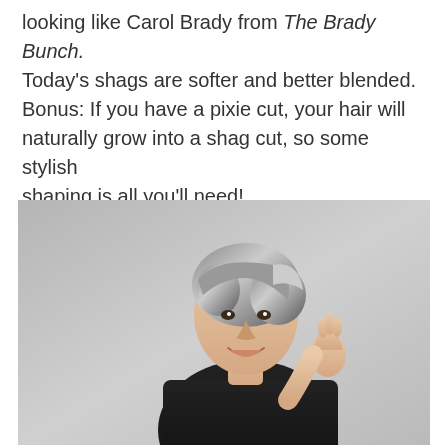looking like Carol Brady from The Brady Bunch. Today's shags are softer and better blended. Bonus: If you have a pixie cut, your hair will naturally grow into a shag cut, so some stylish shaping is all you'll need!
[Figure (photo): A middle-aged woman with short gray-streaked hair wearing a black shirt, smiling and posing against a light gray background, with her hand raised near her chin.]